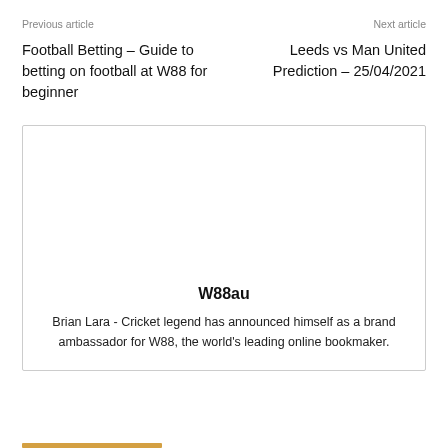Previous article    Next article
Football Betting – Guide to betting on football at W88 for beginner
Leeds vs Man United Prediction – 25/04/2021
[Figure (other): Advertisement box with W88au branding and text about Brian Lara cricket legend brand ambassador]
W88au
Brian Lara - Cricket legend has announced himself as a brand ambassador for W88, the world's leading online bookmaker.